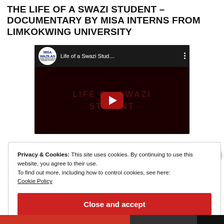THE LIFE OF A SWAZI STUDENT – DOCUMENTARY BY MISA INTERNS FROM LIMKOKWING UNIVERSITY
[Figure (screenshot): YouTube video thumbnail showing 'Life of a Swazi Stud...' with MISA Waziland logo, black background with dark red text 'LIFE OF A SWAZI STUDENT' and a red YouTube play button in the center.]
Privacy & Cookies: This site uses cookies. By continuing to use this website, you agree to their use.
To find out more, including how to control cookies, see here:
Cookie Policy
Close and accept